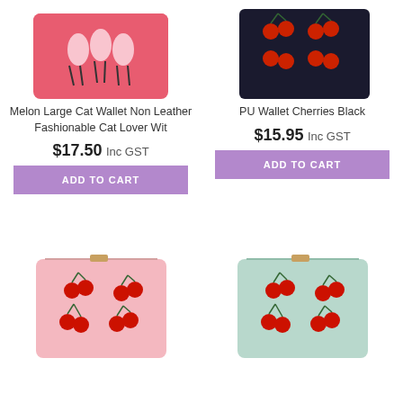[Figure (photo): Pink wallet with illustrated cat characters on top portion, partially visible]
[Figure (photo): Black wallet with cherry pattern on top portion, partially visible]
Melon Large Cat Wallet Non Leather Fashionable Cat Lover Wit
$17.50 Inc GST
ADD TO CART
PU Wallet Cherries Black
$15.95 Inc GST
ADD TO CART
[Figure (photo): Pink small wallet with embroidered cherry pattern]
[Figure (photo): Mint/light green small wallet with embroidered cherry pattern]